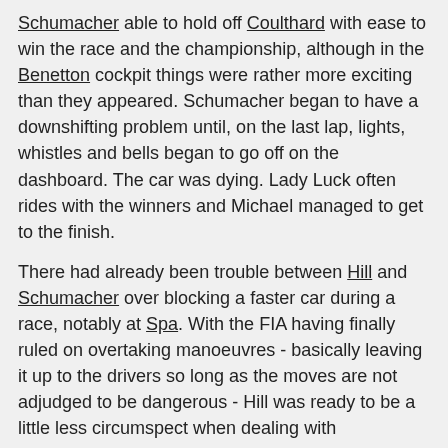Schumacher able to hold off Coulthard with ease to win the race and the championship, although in the Benetton cockpit things were rather more exciting than they appeared. Schumacher began to have a downshifting problem until, on the last lap, lights, whistles and bells began to go off on the dashboard. The car was dying. Lady Luck often rides with the winners and Michael managed to get to the finish.
There had already been trouble between Hill and Schumacher over blocking a faster car during a race, notably at Spa. With the FIA having finally ruled on overtaking manoeuvres - basically leaving it up to the drivers so long as the moves are not adjudged to be dangerous - Hill was ready to be a little less circumspect when dealing with Schumacher and at the start Damon showed Schumacher what it is like to be on the receiving end. Damon refused to give way as the German tried to go around him. Neither backed off and the pair teetered out into the dusty areas of the track, allowing Alesi to get ahead. Berger tried the same but Hill shut him out. Hill was third, Alesi fifth.
After the race there was a kerfuffle as Schumacher complained to Hill off camera, and said "no problem"